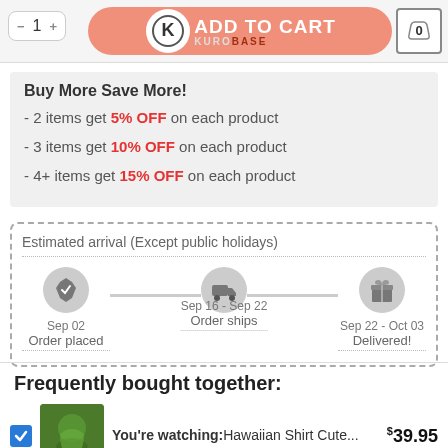[Figure (screenshot): Top navigation bar with quantity selector showing 1, Add to Cart button with Kurobase logo in salmon color, and cart icon showing 0]
Buy More Save More!
- 2 items get 5% OFF on each product
- 3 items get 10% OFF on each product
- 4+ items get 15% OFF on each product
Estimated arrival (Except public holidays)
Sep 02 Order placed
Sep 16 - Sep 22 Order ships
Sep 22 - Oct 03 Delivered!
Frequently bought together:
You're watching: Hawaiian Shirt Cute... $39.95